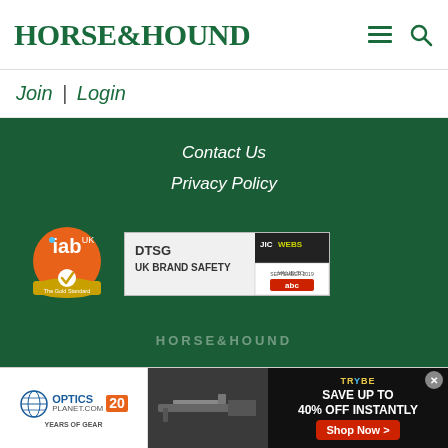HORSE&HOUND
Join | Login
Contact Us
Privacy Policy
[Figure (logo): IAB UK gold standard badge - circular orange logo with 'iab' text and checkmark]
[Figure (logo): DTSG JICWebs UK Brand Safety badge with ABC validation, valid to September 2019]
[Figure (logo): Horse & Hound footer logo in faded white text]
[Figure (screenshot): Advertisement banner: Optics Planet 20 years, rifle image, Trybe gear logo, Save up to 40% off instantly, Shop Now button]